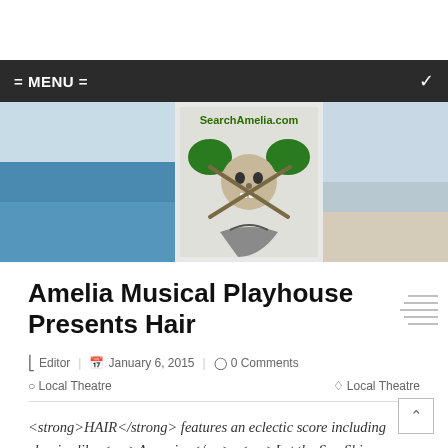= MENU =
[Figure (photo): SearchAmelia.com website banner with a pirate skull logo with crossed swords and palm trees, set against a beach/ocean panoramic background photo.]
Amelia Musical Playhouse Presents Hair
Editor | January 6, 2015 | 0 Comments
Local Theatre   Local Theatre
<strong>HAIR</strong> features an eclectic score including classics like <em>Aquarius</em>, <em>Let the Sun Shine